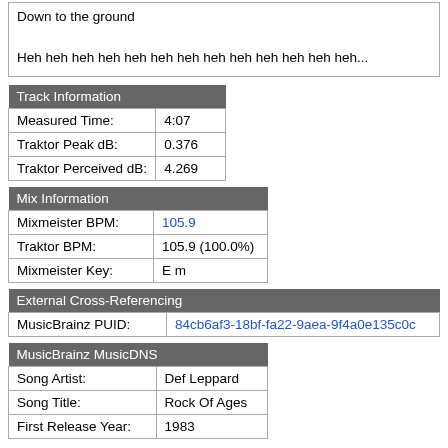Down to the ground
Heh heh heh heh heh heh heh heh heh heh heh heh heh...
| Track Information |  |
| --- | --- |
| Measured Time: | 4:07 |
| Traktor Peak dB: | 0.376 |
| Traktor Perceived dB: | 4.269 |
| Mix Information |  |
| --- | --- |
| Mixmeister BPM: | 105.9 |
| Traktor BPM: | 105.9 (100.0%) |
| Mixmeister Key: | E m |
| External Cross-Referencing |  |
| --- | --- |
| MusicBrainz PUID: | 84cb6af3-18bf-fa22-9aea-9f4a0e135c0c |
| MusicBrainz MusicDNS |  |
| --- | --- |
| Song Artist: | Def Leppard |
| Song Title: | Rock Of Ages |
| First Release Year: | 1983 |